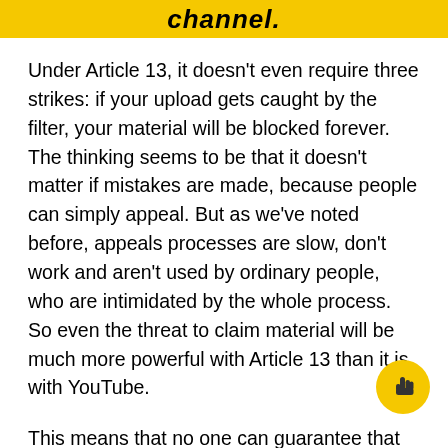channel.
Under Article 13, it doesn't even require three strikes: if your upload gets caught by the filter, your material will be blocked forever. The thinking seems to be that it doesn't matter if mistakes are made, because people can simply appeal. But as we've noted before, appeals processes are slow, don't work and aren't used by ordinary people, who are intimidated by the whole process. So even the threat to claim material will be much more powerful with Article 13 than it is with YouTube.
This means that no one can guarantee that their content will make it online in the first place, except the big (US) rightholders who will have forced the